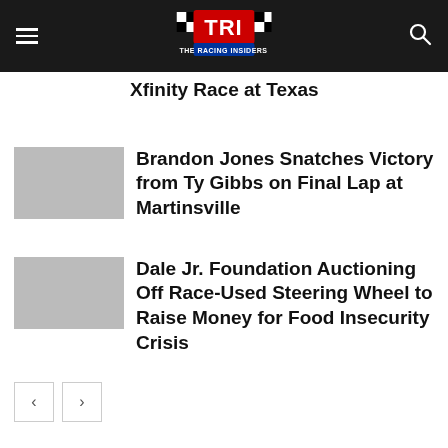TRI - The Racing Insiders
Xfinity Race at Texas
Brandon Jones Snatches Victory from Ty Gibbs on Final Lap at Martinsville
Dale Jr. Foundation Auctioning Off Race-Used Steering Wheel to Raise Money for Food Insecurity Crisis
NASCAR Cup Series News